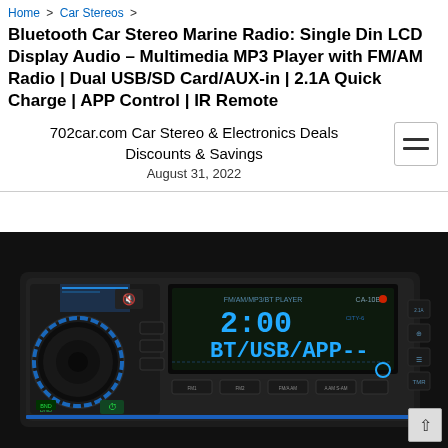Home > Car Stereos >
Bluetooth Car Stereo Marine Radio: Single Din LCD Display Audio – Multimedia MP3 Player with FM/AM Radio | Dual USB/SD Card/AUX-in | 2.1A Quick Charge | APP Control | IR Remote
702car.com Car Stereo & Electronics Deals Discounts & Savings
August 31, 2022
[Figure (photo): A black single-DIN car stereo unit (model CA-10BT) showing FM/AM/MP3/BT PLAYER on the display panel, with blue LED illumination on the volume knob and display showing 2:00 and BT/USB/APP--. The unit has various control buttons and a blue accent light strip along the bottom.]